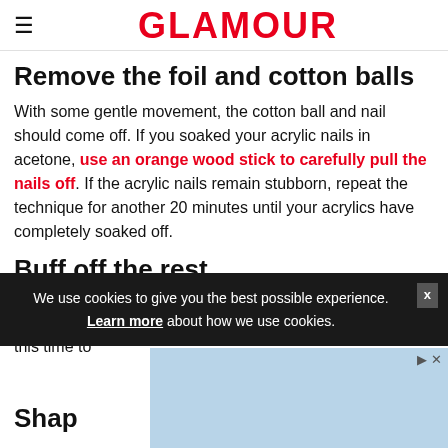GLAMOUR
Remove the foil and cotton balls
With some gentle movement, the cotton ball and nail should come off. If you soaked your acrylic nails in acetone, use an orange wood stick to carefully pull the nails off. If the acrylic nails remain stubborn, repeat the technique for another 20 minutes until your acrylics have completely soaked off.
Buff off the rest
Using a nail buffer, scrape off any remaining acrylic. Because the acetone soak has softened the acrylic, take this time to
We use cookies to give you the best possible experience. Learn more about how we use cookies.
aceto
Shap